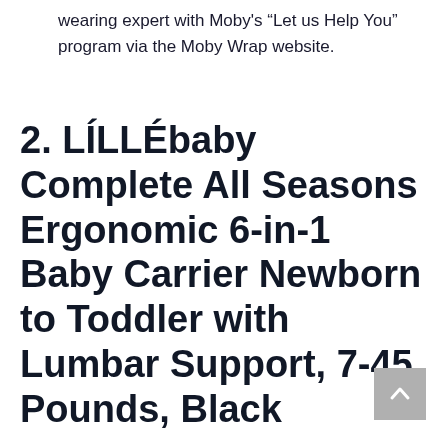wearing expert with Moby's “Let us Help You” program via the Moby Wrap website.
2. LÍLLÉbaby Complete All Seasons Ergonomic 6-in-1 Baby Carrier Newborn to Toddler with Lumbar Support, 7-45 Pounds, Black